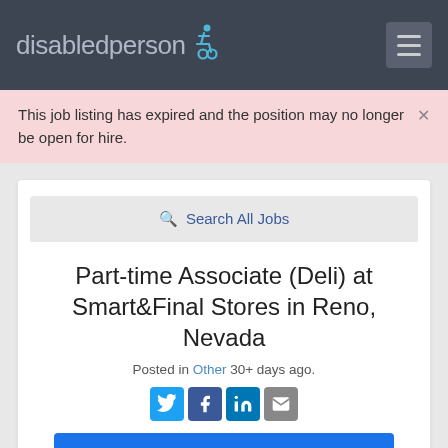disabledperson [wheelchair icon] [hamburger menu]
This job listing has expired and the position may no longer be open for hire.
Search All Jobs
Part-time Associate (Deli) at Smart&Final Stores in Reno, Nevada
Posted in Other 30+ days ago.
[Figure (other): Social sharing icons: Twitter, Facebook, LinkedIn, Email]
Apply Now